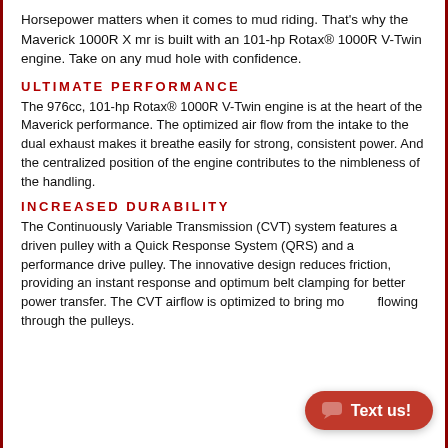Horsepower matters when it comes to mud riding. That's why the Maverick 1000R X mr is built with an 101-hp Rotax® 1000R V-Twin engine. Take on any mud hole with confidence.
ULTIMATE PERFORMANCE
The 976cc, 101-hp Rotax® 1000R V-Twin engine is at the heart of the Maverick performance. The optimized air flow from the intake to the dual exhaust makes it breathe easily for strong, consistent power. And the centralized position of the engine contributes to the nimbleness of the handling.
INCREASED DURABILITY
The Continuously Variable Transmission (CVT) system features a driven pulley with a Quick Response System (QRS) and a performance drive pulley. The innovative design reduces friction, providing an instant response and optimum belt clamping for better power transfer. The CVT airflow is optimized to bring more air flowing through the pulleys.